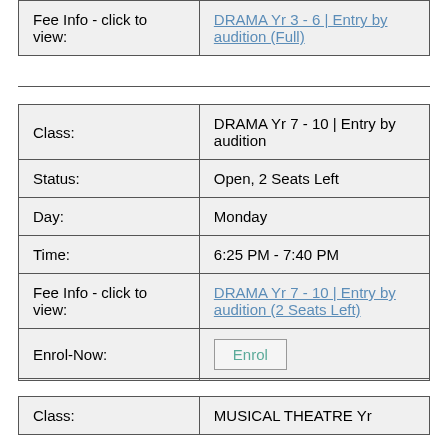| Fee Info - click to view: | DRAMA Yr 3 - 6 | Entry by audition (Full) |
| Class: | DRAMA Yr 7 - 10 | Entry by audition |
| Status: | Open, 2 Seats Left |
| Day: | Monday |
| Time: | 6:25 PM - 7:40 PM |
| Fee Info - click to view: | DRAMA Yr 7 - 10 | Entry by audition (2 Seats Left) |
| Enrol-Now: | Enrol |
| Class: | MUSICAL THEATRE Yr |